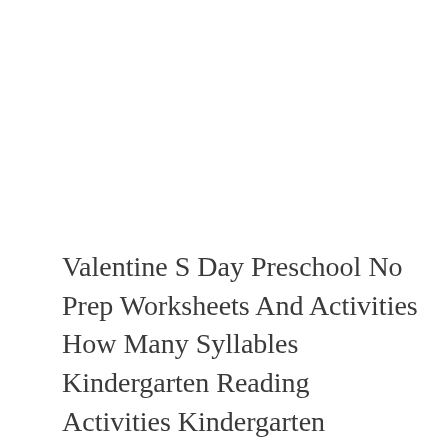Valentine S Day Preschool No Prep Worksheets And Activities How Many Syllables Kindergarten Reading Activities Kindergarten Learning Valentine Worksheets